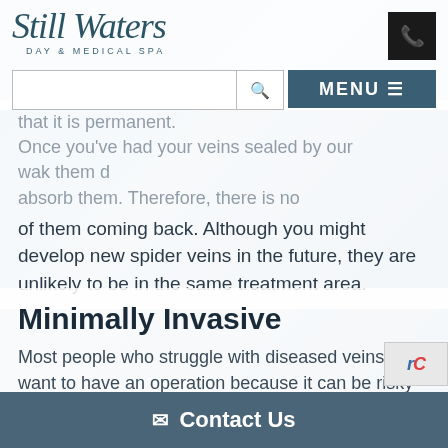[Figure (logo): Still Waters Day & Medical Spa logo with script font]
that it is permanent. Once you've had your veins sealed by our w___ak them d___ absorb them. Therefore, there is n___ of them coming back. Although you might develop new spider veins in the future, they are unlikely to be in the same treatment area.
Minimally Invasive
Most people who struggle with diseased veins don't want to have an operation because it can be risky and time-consuming. Similarly, more and more
✉ Contact Us